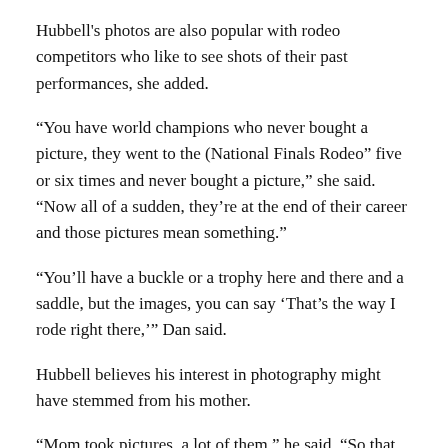Hubbell's photos are also popular with rodeo competitors who like to see shots of their past performances, she added.
“You have world champions who never bought a picture, they went to the (National Finals Rodeo” five or six times and never bought a picture,” she said. “Now all of a sudden, they’re at the end of their career and those pictures mean something.”
“You’ll have a buckle or a trophy here and there and a saddle, but the images, you can say ‘That’s the way I rode right there,’” Dan said.
Hubbell believes his interest in photography might have stemmed from his mother.
“Mom took pictures, a lot of them,” he said. “So that might be where it really started.”